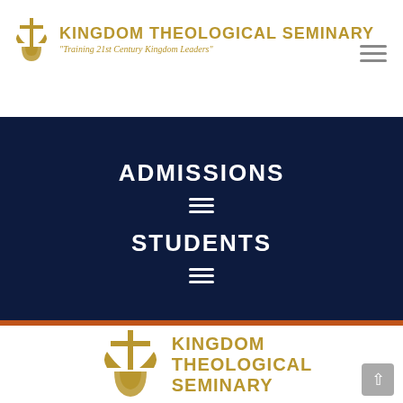[Figure (logo): Kingdom Theological Seminary logo with cross/chalice icon and text 'KINGDOM THEOLOGICAL SEMINARY' subtitle: Training 21st Century Kingdom Leaders]
[Figure (other): Hamburger menu icon (three horizontal lines) in top right of header]
ADMISSIONS
[Figure (other): Hamburger menu icon (three horizontal lines) in dark nav section below ADMISSIONS]
STUDENTS
[Figure (other): Hamburger menu icon (three horizontal lines) in dark nav section below STUDENTS]
[Figure (logo): Kingdom Theological Seminary logo large version at bottom: cross/chalice icon with text KINGDOM THEOLOGICAL SEMINARY]